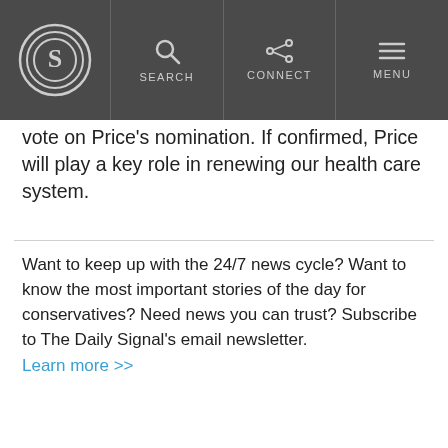THE DAILY SIGNAL — SEARCH | CONNECT | MENU
vote on Price's nomination. If confirmed, Price will play a key role in renewing our health care system.
Want to keep up with the 24/7 news cycle? Want to know the most important stories of the day for conservatives? Need news you can trust? Subscribe to The Daily Signal's email newsletter. Learn more >>
A Note for our Readers: